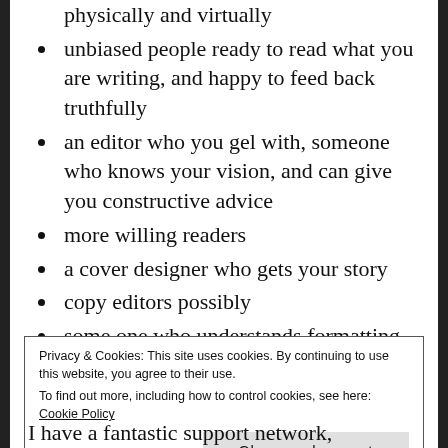physically and virtually
unbiased people ready to read what you are writing, and happy to feed back truthfully
an editor who you gel with, someone who knows your vision, and can give you constructive advice
more willing readers
a cover designer who gets your story
copy editors possibly
some one who understands formatting to make the interior of your book look as perfect as it can
Privacy & Cookies: This site uses cookies. By continuing to use this website, you agree to their use.
To find out more, including how to control cookies, see here: Cookie Policy
I have a fantastic support network, thankfully. I